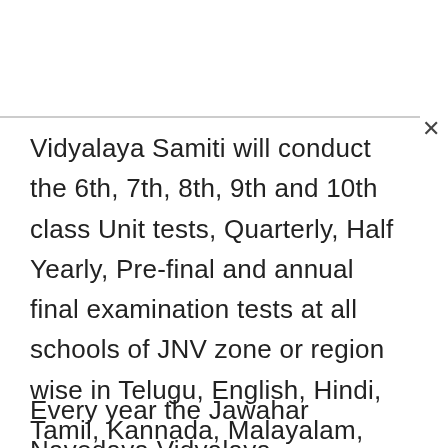Vidyalaya Samiti will conduct the 6th, 7th, 8th, 9th and 10th class Unit tests, Quarterly, Half Yearly, Pre-final and annual final examination tests at all schools of JNV zone or region wise in Telugu, English, Hindi, Tamil, Kannada, Malayalam, Odia, Gujarati, Urdu, Bengali, Marathi, Sanskrit and all languages across in the country.
Every year the Jawahar Navodaya Vidyalaya